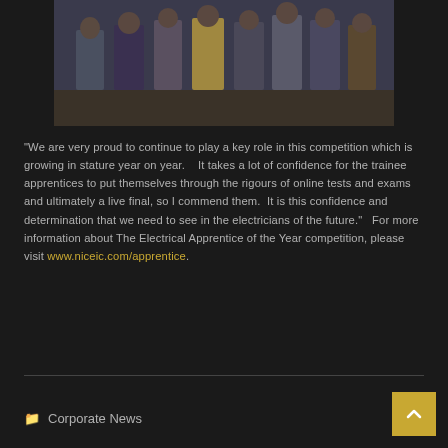[Figure (photo): Group photo of young men (apprentices) standing in a row, wearing smart casual clothes, in an indoor venue with a patterned carpet floor.]
“We are very proud to continue to play a key role in this competition which is growing in stature year on year.    It takes a lot of confidence for the trainee apprentices to put themselves through the rigours of online tests and exams and ultimately a live final, so I commend them.  It is this confidence and determination that we need to see in the electricians of the future.”   For more information about The Electrical Apprentice of the Year competition, please visit www.niceic.com/apprentice.
Corporate News